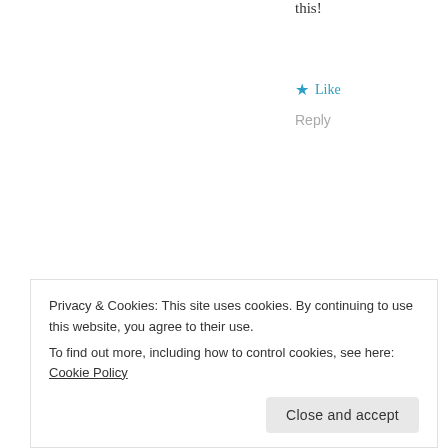this!
★ Like
Reply
2lazy4gym says:
January 30, 2018 at 5:48 pm
Thanks! I'm glad my blog is useful. And no, I don't know anything about X-Factor.
★ Like
Privacy & Cookies: This site uses cookies. By continuing to use this website, you agree to their use.
To find out more, including how to control cookies, see here: Cookie Policy
Close and accept
I am fairly new to your blog, and it is